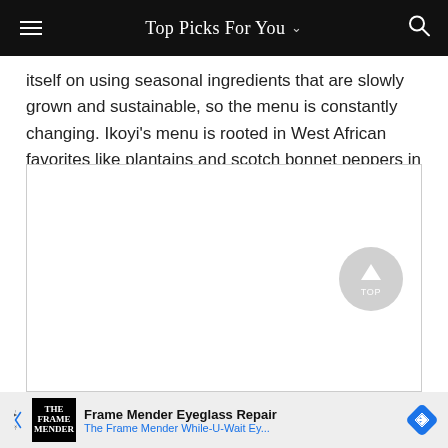Top Picks For You
itself on using seasonal ingredients that are slowly grown and sustainable, so the menu is constantly changing. Ikoyi’s menu is rooted in West African favorites like plantains and scotch bonnet peppers in various dishes—think smoked jollof rice and plantain smoked kelp with blueberry.
[Figure (other): White rectangular content box with a circular grey 'TOP' back-to-top button in the lower right corner]
[Figure (other): Advertisement bar: Frame Mender Eyeglass Repair ad with logo, headline 'Frame Mender Eyeglass Repair', subtext 'The Frame Mender While-U-Wait Ey...' and a blue diamond navigation icon]